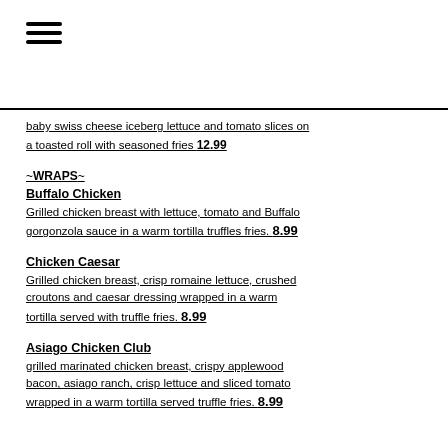[Figure (other): Hamburger menu icon (three horizontal lines)]
baby swiss cheese iceberg lettuce and tomato slices on a toasted roll with seasoned fries 12.99
~WRAPS~
Buffalo Chicken
Grilled chicken breast with lettuce, tomato and Buffalo gorgonzola sauce in a warm tortilla truffles fries. 8.99
Chicken Caesar
Grilled chicken breast, crisp romaine lettuce, crushed croutons and caesar dressing wrapped in a warm tortilla served with truffle fries. 8.99
Asiago Chicken Club
grilled marinated chicken breast, crispy applewood bacon, asiago ranch, crisp lettuce and sliced tomato wrapped in a warm tortilla served truffle fries. 8.99